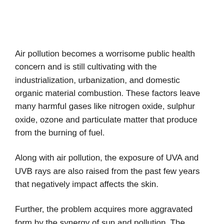Air pollution becomes a worrisome public health concern and is still cultivating with the industrialization, urbanization, and domestic organic material combustion. These factors leave many harmful gases like nitrogen oxide, sulphur oxide, ozone and particulate matter that produce from the burning of fuel.
Along with air pollution, the exposure of UVA and UVB rays are also raised from the past few years that negatively impact affects the skin.
Further, the problem acquires more aggravated form by the synergy of sun and pollution. The particulate matter which